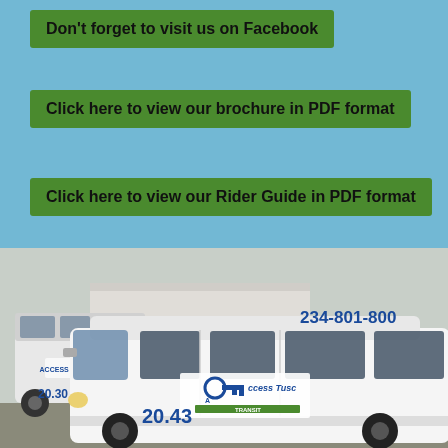Don't forget to visit us on Facebook
Click here to view our brochure in PDF format
Click here to view our Rider Guide in PDF format
[Figure (photo): White Access Tuscarawas Transit minivan (number 20.43) in a parking lot with another white transit van behind it. The van displays the phone number 234-801-800 and the Access Tuscarawas Transit logo.]